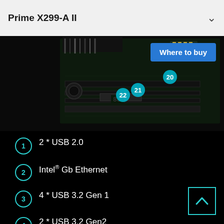Prime X299-A II
Where to buy
[Figure (photo): Close-up photograph of ASUS Prime X299-A II motherboard showing PCIe slots and connectors, with numbered callouts 20, 21, and 22 in teal circles indicating specific components]
1  2 * USB 2.0
2  Intel® Gb Ethernet
3  4 * USB 3.2 Gen 1
4  2 * USB 3.2 Gen2 (1*TypeC™, 1* Type A)
5  USB BIOS FlashBack™
6  8-Ch Audio